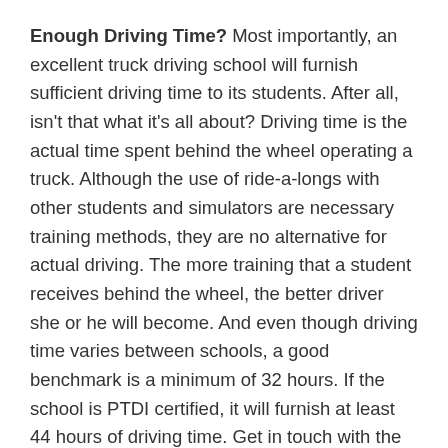Enough Driving Time? Most importantly, an excellent truck driving school will furnish sufficient driving time to its students. After all, isn't that what it's all about? Driving time is the actual time spent behind the wheel operating a truck. Although the use of ride-a-longs with other students and simulators are necessary training methods, they are no alternative for actual driving. The more training that a student receives behind the wheel, the better driver she or he will become. And even though driving time varies between schools, a good benchmark is a minimum of 32 hours. If the school is PTDI certified, it will furnish at least 44 hours of driving time. Get in touch with the San Luis AZ schools you are considering and ask how much driving time they furnish.
Are they Independent or Captive ? You can receive discounted or even free training from certain truck driver schools if you make a commitment to drive for a